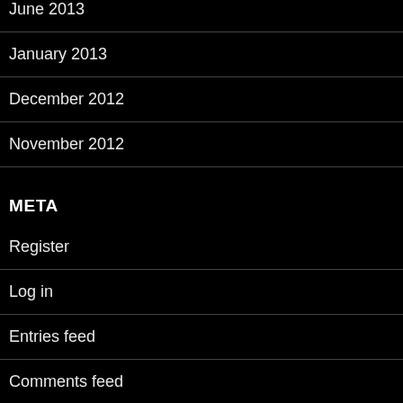June 2013
January 2013
December 2012
November 2012
META
Register
Log in
Entries feed
Comments feed
WordPress.com